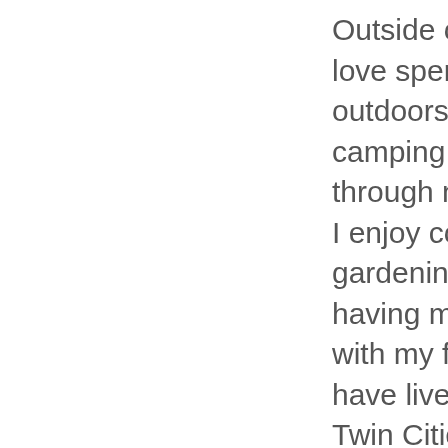Outside of school I love spending time outdoors, especially camping and hiking through nature. I enjoy cooking, gardening, and having movie nights with my family. I have lived in the Twin Cities for 19 years, and it has been a wonderful place to explore!

Teaching at Frost Lake has given me the opportunity to broaden my teaching, and implement creative ways to learn